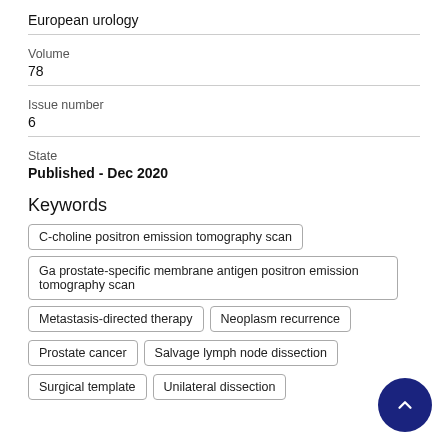European urology
Volume
78
Issue number
6
State
Published - Dec 2020
Keywords
C-choline positron emission tomography scan
Ga prostate-specific membrane antigen positron emission tomography scan
Metastasis-directed therapy
Neoplasm recurrence
Prostate cancer
Salvage lymph node dissection
Surgical template
Unilateral dissection